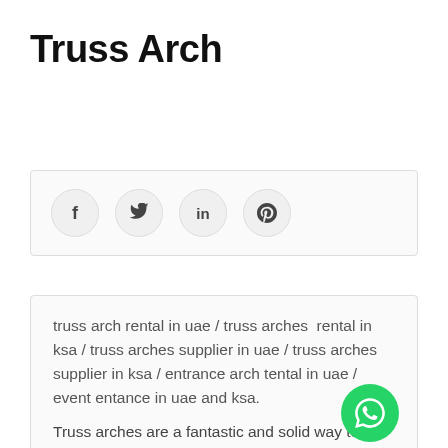Truss Arch
[Figure (infographic): Social share bar with four circular icon buttons: Facebook (f), Twitter (bird), LinkedIn (in), Pinterest (P)]
truss arch rental in uae / truss arches  rental in ksa / truss arches supplier in uae / truss arches supplier in ksa / entrance arch tental in uae / event entance in uae and ksa.
Truss arches are a fantastic and solid way to